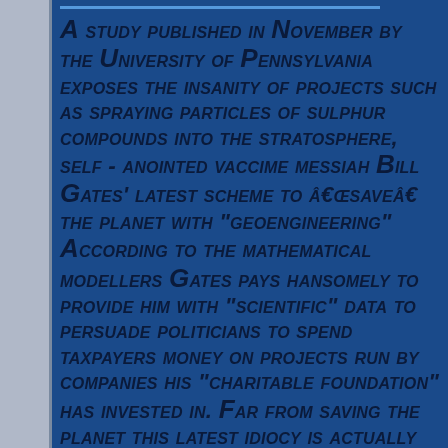A study published in November by the University of Pennsylvania exposes the insanity of projects such as spraying particles of sulphur compounds into the stratosphere, self - anointed vaccine messiah Bill Gates' latest scheme to â€œsaveâ€ the planet with "geoengineering" According to the mathematical modellers Gates pays hansomely to provide him with "scientific" data to persuade politicians to spend taxpayers money on projects run by companies his "charitable foundation" has invested in. Far from saving the planet this latest idiocy is actually destroying environments.